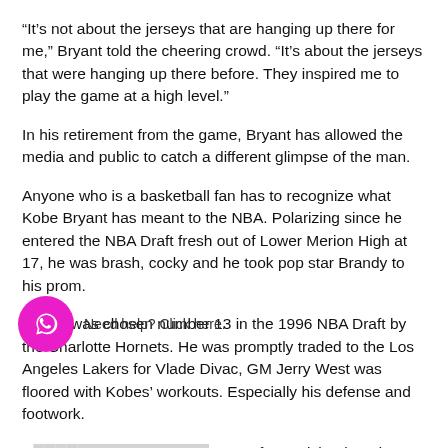“It’s not about the jerseys that are hanging up there for me,” Bryant told the cheering crowd. “It’s about the jerseys that were hanging up there before. They inspired me to play the game at a high level.”
In his retirement from the game, Bryant has allowed the media and public to catch a different glimpse of the man.
Anyone who is a basketball fan has to recognize what Kobe Bryant has meant to the NBA. Polarizing since he entered the NBA Draft fresh out of Lower Merion High at 17, he was brash, cocky and he took pop star Brandy to his prom.
Bryant was chosen number 13 in the 1996 NBA Draft by the Charlotte Hornets. He was promptly traded to the Los Angeles Lakers for Vlade Divac, GM Jerry West was floored with Kobes’ workouts. Especially his defense and footwork.
H[...] noves from Michael Jordan wh[...] a[...] ore importantly, their killer instinct is what bonds Jordan and Kobe for eternity. Anytime an [...]